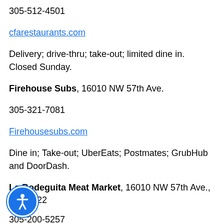305-512-4501
cfarestaurants.com
Delivery; drive-thru; take-out; limited dine in. Closed Sunday.
Firehouse Subs, 16010 NW 57th Ave.
305-321-7081
Firehousesubs.com
Dine in; Take-out; UberEats; Postmates; GrubHub and DoorDash.
La Bodeguita Meat Market, 16010 NW 57th Ave., Suite 122
305-200-5257